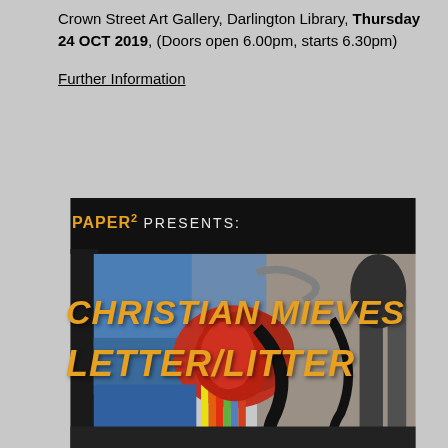Crown Street Art Gallery, Darlington Library, Thursday 24 OCT 2019, (Doors open 6.00pm, starts 6.30pm)
Further Information
[Figure (photo): Poster for PAPER² PRESENTS: CHRISTIAN MIEVES LETTER/LITTER exhibition. Dark background with orange bold italic text overlaid on an abstract painting featuring red, blue, yellow and black brushstrokes.]